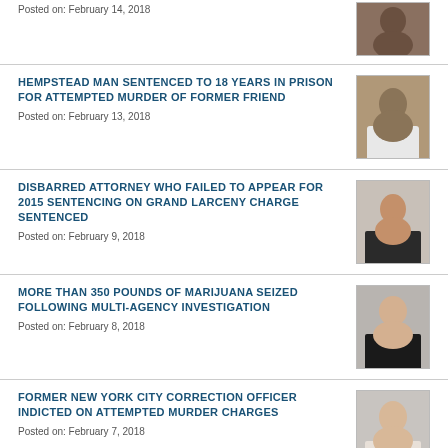Posted on: February 14, 2018
HEMPSTEAD MAN SENTENCED TO 18 YEARS IN PRISON FOR ATTEMPTED MURDER OF FORMER FRIEND
Posted on: February 13, 2018
DISBARRED ATTORNEY WHO FAILED TO APPEAR FOR 2015 SENTENCING ON GRAND LARCENY CHARGE SENTENCED
Posted on: February 9, 2018
MORE THAN 350 POUNDS OF MARIJUANA SEIZED FOLLOWING MULTI-AGENCY INVESTIGATION
Posted on: February 8, 2018
FORMER NEW YORK CITY CORRECTION OFFICER INDICTED ON ATTEMPTED MURDER CHARGES
Posted on: February 7, 2018